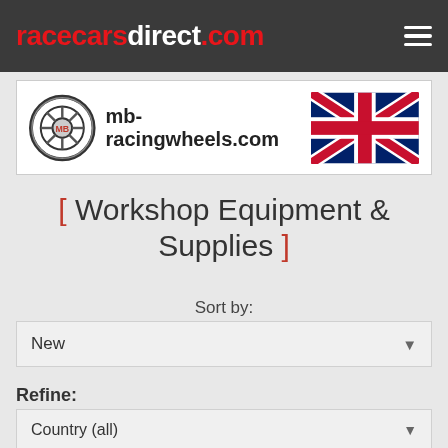racecarsdirect.com
[Figure (logo): mb-racingwheels.com banner with wheel logo and UK flag]
[ Workshop Equipment & Supplies ]
Sort by:
New
Refine:
Country (all)
Workshop Equipment & Supplies
Sub Category (all)